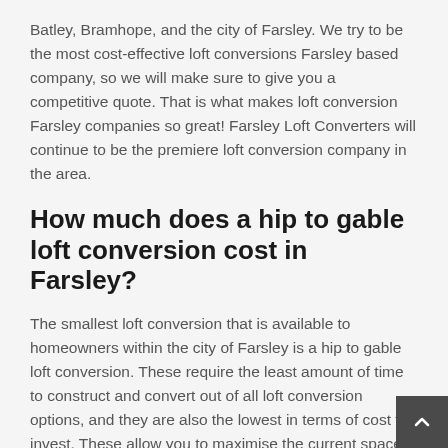Batley, Bramhope, and the city of Farsley. We try to be the most cost-effective loft conversions Farsley based company, so we will make sure to give you a competitive quote. That is what makes loft conversion Farsley companies so great! Farsley Loft Converters will continue to be the premiere loft conversion company in the area.
How much does a hip to gable loft conversion cost in Farsley?
The smallest loft conversion that is available to homeowners within the city of Farsley is a hip to gable loft conversion. These require the least amount of time to construct and convert out of all loft conversion options, and they are also the lowest in terms of cost to invest. These allow you to maximise the current space within your loft rather than